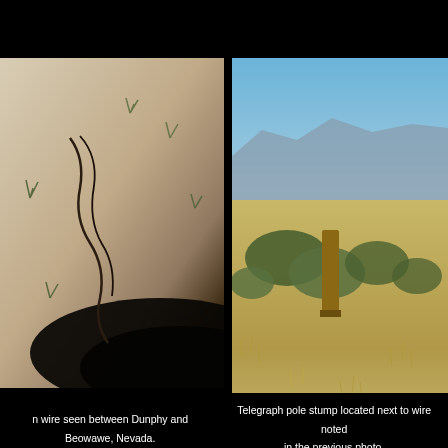[Figure (photo): Wire seen on sandy ground between Dunphy and Beowawe, Nevada. Shadow of a large circular object visible on the sand.]
n wire seen between Dunphy and Beowawe, Nevada.
[Figure (photo): Telegraph pole stump located next to wire noted in the previous photo. Dry grassland with mountains in background, Nevada.]
Telegraph pole stump located next to wire noted in the previous photo.
[Figure (photo): Blue sky with light wispy clouds.]
[Figure (photo): Dry grassland/rangeland landscape with hills in background.]